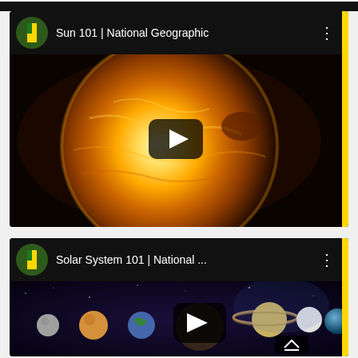[Figure (screenshot): Top partial strip of a previous YouTube video card, shown at very top of page]
[Figure (screenshot): YouTube video card for 'Sun 101 | National Geographic' showing a close-up image of the sun with a play button overlay, National Geographic logo, and yellow accent bar on right]
[Figure (screenshot): YouTube video card for 'Solar System 101 | National ...' showing planets of the solar system in space with a play button overlay and cast button, National Geographic logo, and yellow accent bar on right]